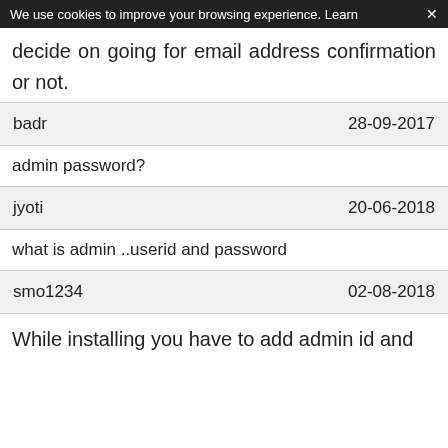We use cookies to improve your browsing experience. Learn ×
decide on going for email address confirmation or not.
| user | date |
| --- | --- |
| badr | 28-09-2017 |
admin password?
| user | date |
| --- | --- |
| jyoti | 20-06-2018 |
what is admin ..userid and password
| user | date |
| --- | --- |
| smo1234 | 02-08-2018 |
While installing you have to add admin id and